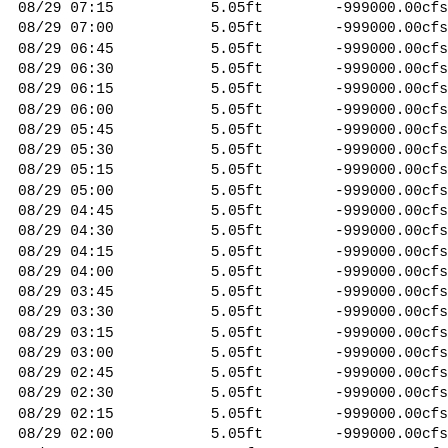| DateTime | Stage | Flow |
| --- | --- | --- |
| 08/29 07:15 | 5.05ft | -999000.00cfs |
| 08/29 07:00 | 5.05ft | -999000.00cfs |
| 08/29 06:45 | 5.05ft | -999000.00cfs |
| 08/29 06:30 | 5.05ft | -999000.00cfs |
| 08/29 06:15 | 5.05ft | -999000.00cfs |
| 08/29 06:00 | 5.05ft | -999000.00cfs |
| 08/29 05:45 | 5.05ft | -999000.00cfs |
| 08/29 05:30 | 5.05ft | -999000.00cfs |
| 08/29 05:15 | 5.05ft | -999000.00cfs |
| 08/29 05:00 | 5.05ft | -999000.00cfs |
| 08/29 04:45 | 5.05ft | -999000.00cfs |
| 08/29 04:30 | 5.05ft | -999000.00cfs |
| 08/29 04:15 | 5.05ft | -999000.00cfs |
| 08/29 04:00 | 5.05ft | -999000.00cfs |
| 08/29 03:45 | 5.05ft | -999000.00cfs |
| 08/29 03:30 | 5.05ft | -999000.00cfs |
| 08/29 03:15 | 5.05ft | -999000.00cfs |
| 08/29 03:00 | 5.05ft | -999000.00cfs |
| 08/29 02:45 | 5.05ft | -999000.00cfs |
| 08/29 02:30 | 5.05ft | -999000.00cfs |
| 08/29 02:15 | 5.05ft | -999000.00cfs |
| 08/29 02:00 | 5.05ft | -999000.00cfs |
| 08/29 01:45 | 5.05ft | -999000.00cfs |
| 08/29 01:30 | 5.05ft | -999000.00cfs |